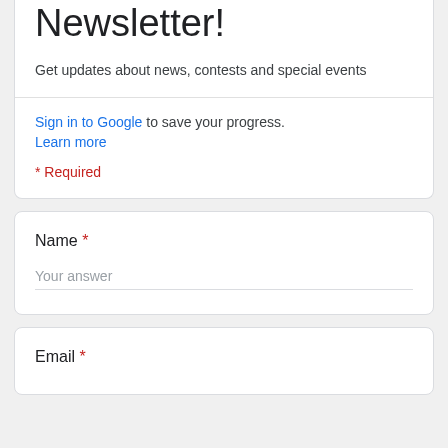Newsletter!
Get updates about news, contests and special events
Sign in to Google to save your progress. Learn more
* Required
Name *
Your answer
Email *